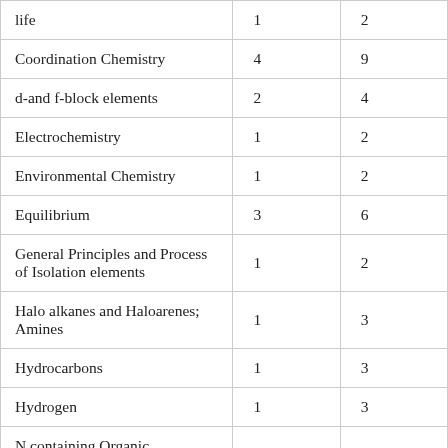| life | 1 | 2 |
| Coordination Chemistry | 4 | 9 |
| d-and f-block elements | 2 | 4 |
| Electrochemistry | 1 | 2 |
| Environmental Chemistry | 1 | 2 |
| Equilibrium | 3 | 6 |
| General Principles and Process of Isolation elements | 1 | 2 |
| Halo alkanes and Haloarenes; Amines | 1 | 3 |
| Hydrocarbons | 1 | 3 |
| Hydrogen | 1 | 3 |
| N containing Organic Compounds | 1 | 3 |